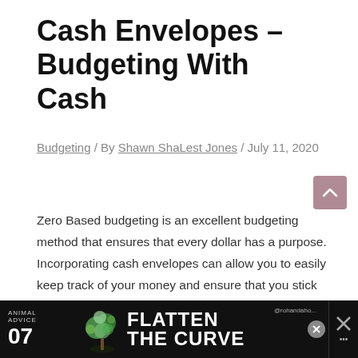Cash Envelopes – Budgeting With Cash
Budgeting / By Shawn ShaLest Jones / July 11, 2020
Zero Based budgeting is an excellent budgeting method that ensures that every dollar has a purpose. Incorporating cash envelopes can allow you to easily keep track of your money and ensure that you stick to your planned budgeted amounts in each of your budget categories.
If you are a fan of the Dave Ramsey budget and you like working with cash then chances are you'll love the cash envelope system.
[Figure (other): Advertisement banner for 'Animal Advice 07 – Flatten The Curve' with colorful tropical design on dark background]